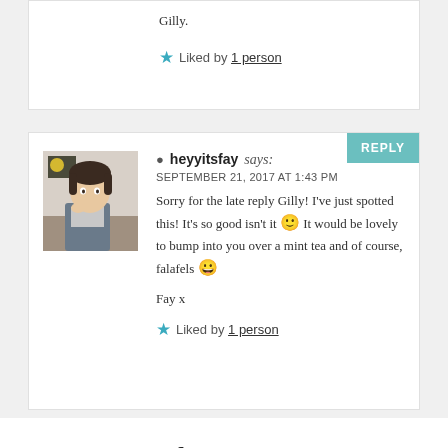Gilly.
★ Liked by 1 person
heyyitsfay says:
SEPTEMBER 21, 2017 AT 1:43 PM
Sorry for the late reply Gilly! I've just spotted this! It's so good isn't it 🙂 It would be lovely to bump into you over a mint tea and of course, falafels 😀

Fay x
★ Liked by 1 person
Leave a Reply
Your email address will not be published. Required fields are marked *